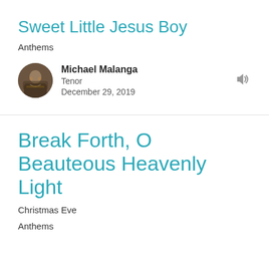Sweet Little Jesus Boy
Anthems
Michael Malanga
Tenor
December 29, 2019
[Figure (photo): Circular avatar photo of Michael Malanga, showing a person at what appears to be a piano or organ in dim lighting]
[Figure (other): Speaker/audio icon in grey]
Break Forth, O Beauteous Heavenly Light
Christmas Eve
Anthems